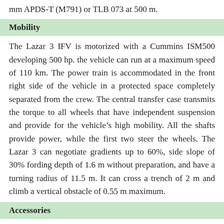mm APDS-T (M791) or TLB 073 at 500 m.
Mobility
The Lazar 3 IFV is motorized with a Cummins ISM500 developing 500 hp. the vehicle can run at a maximum speed of 110 km. The power train is accommodated in the front right side of the vehicle in a protected space completely separated from the crew. The central transfer case transmits the torque to all wheels that have independent suspension and provide for the vehicle’s high mobility. All the shafts provide power, while the first two steer the wheels. The Lazar 3 can negotiate gradients up to 60%, side slope of 30% fording depth of 1.6 m without preparation, and have a turning radius of 11.5 m. It can cross a trench of 2 m and climb a vertical obstacle of 0.55 m maximum.
Accessories
Standard equipment of the Lazar 3 IFV includes an air conditioning system, NBC protection system. In option, the vehicle can be fitted with an automatic firefighting system,